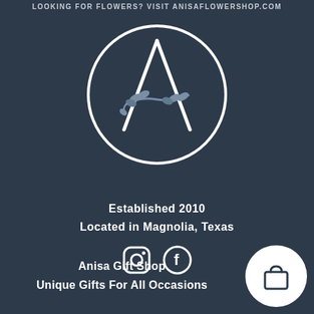LOOKING FOR FLOWERS? VISIT ANISAFLOWERSHOP.COM
[Figure (logo): Circular logo with white outline circle, white letter A inside, and a decorative olive/leaf branch across the middle of the A]
Established 2010
Located in Magnolia, Texas
[Figure (illustration): Instagram and Facebook social media icons in white]
Anisa Gift Shop
Unique Gifts For All Occasions
[Figure (illustration): White circular shopping bag / cart button in bottom right corner]